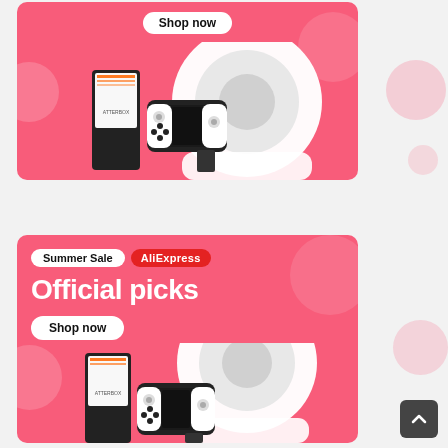[Figure (infographic): AliExpress Summer Sale banner 1 (top): pink/coral background with bubble decorations, white 'Shop now' button, product images of robot vacuum, gaming console, and Nintendo Switch OLED.]
[Figure (infographic): AliExpress Summer Sale banner 2 (bottom): pink/coral background, 'Summer Sale' and 'AliExpress' labels, 'Official picks' heading in white bold text, 'Shop now' button, and same product images below.]